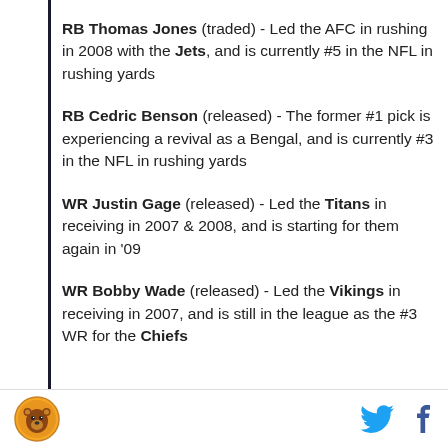RB Thomas Jones (traded) - Led the AFC in rushing in 2008 with the Jets, and is currently #5 in the NFL in rushing yards
RB Cedric Benson (released) - The former #1 pick is experiencing a revival as a Bengal, and is currently #3 in the NFL in rushing yards
WR Justin Gage (released) - Led the Titans in receiving in 2007 & 2008, and is starting for them again in '09
WR Bobby Wade (released) - Led the Vikings in receiving in 2007, and is still in the league as the #3 WR for the Chiefs
Logo and social sharing icons